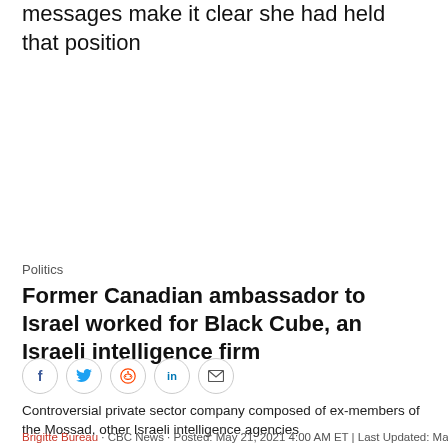messages make it clear she had held that position
Politics
Former Canadian ambassador to Israel worked for Black Cube, an Israeli intelligence firm
[Figure (infographic): Social media share buttons: Facebook, Twitter, Reddit, LinkedIn, Email]
Controversial private sector company composed of ex-members of the Mossad, other Israeli intelligence agencies
Brigitte Bureau · CBC News · Posted: May 21, 2021 4:00 AM ET | Last Updated: May 21
[Figure (photo): Partial photo strip showing people's faces at the bottom of the page]